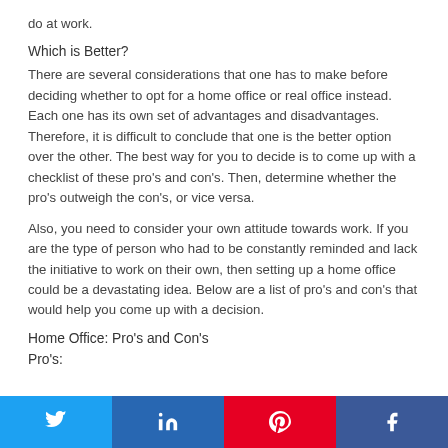do at work.
Which is Better?
There are several considerations that one has to make before deciding whether to opt for a home office or real office instead. Each one has its own set of advantages and disadvantages. Therefore, it is difficult to conclude that one is the better option over the other. The best way for you to decide is to come up with a checklist of these pro's and con's. Then, determine whether the pro's outweigh the con's, or vice versa.
Also, you need to consider your own attitude towards work. If you are the type of person who had to be constantly reminded and lack the initiative to work on their own, then setting up a home office could be a devastating idea. Below are a list of pro's and con's that would help you come up with a decision.
Home Office: Pro's and Con's
Pro's:
[Figure (infographic): Social share buttons: Twitter (blue), LinkedIn (dark blue), Pinterest (red), Facebook (blue)]